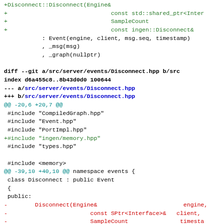Git diff showing changes to Disconnect.hpp and Disconnect.cpp files, including added shared_ptr includes and constructor signature changes.